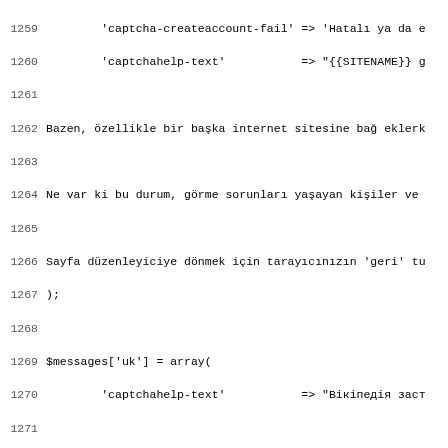Source code listing lines 1259-1291 showing multilingual PHP messages array for captcha help text in Turkish, Ukrainian, Volapük (Volapük), and Walloon (Walon) languages.